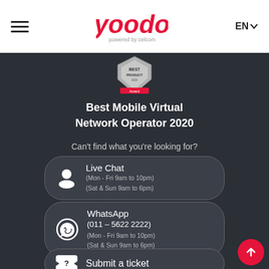[Figure (logo): Yoodo logo - 'yoodo powered by celcom' in red script font]
[Figure (illustration): Best Product award badge/shield icon]
Best Mobile Virtual Network Operator 2020
Can't find what you're looking for?
Live Chat
(Mon - Fri 9am to 10pm)
(Sat & Sun 9am to 6pm)
WhatsApp
(011 – 5622 2222)
(Mon - Fri 9am to 10pm)
(Sat & Sun 9am to 6pm)
Submit a ticket